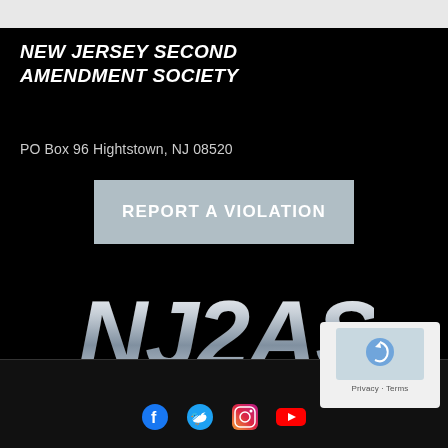NEW JERSEY SECOND AMENDMENT SOCIETY
PO Box 96 Hightstown, NJ 08520
REPORT A VIOLATION
[Figure (logo): NJ2AS metallic silver 3D logo text on black background]
[Figure (other): Social media icons: Facebook, Twitter, Instagram, YouTube on dark footer bar]
[Figure (other): reCAPTCHA widget box with Privacy and Terms text]